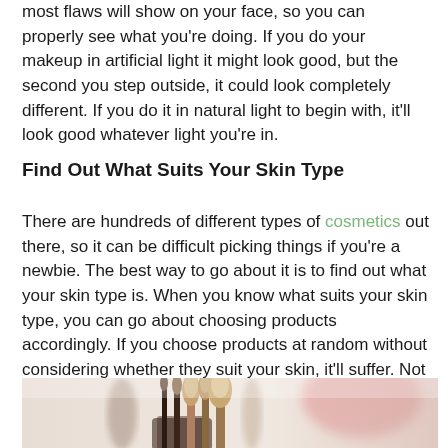most flaws will show on your face, so you can properly see what you're doing. If you do your makeup in artificial light it might look good, but the second you step outside, it could look completely different. If you do it in natural light to begin with, it'll look good whatever light you're in.
Find Out What Suits Your Skin Type
There are hundreds of different types of cosmetics out there, so it can be difficult picking things if you're a newbie. The best way to go about it is to find out what your skin type is. When you know what suits your skin type, you can go about choosing products accordingly. If you choose products at random without considering whether they suit your skin, it'll suffer. Not only that, your makeup won't look the best that it can!
[Figure (photo): Photo of makeup brushes in a container, soft focus, light background with pink blurred element]